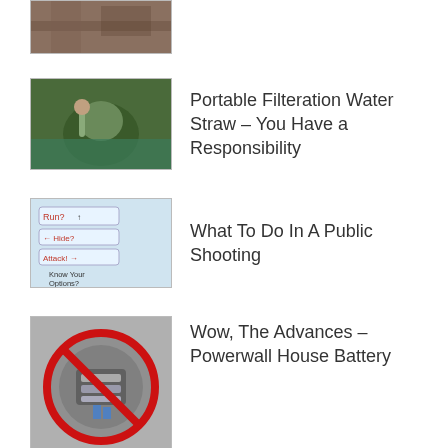[Figure (photo): Partial view of a photo at top of page, cropped]
[Figure (photo): Person drinking from a portable water filtration straw near a water source]
Portable Filteration Water Straw – You Have a Responsibility
[Figure (illustration): Infographic showing options: Run, Hide, Attack with arrows and text 'Know Your Options?']
What To Do In A Public Shooting
[Figure (photo): Electric meter with a red circle-slash symbol over it]
Wow, The Advances – Powerwall House Battery
ARCHIVES
June 2020
December 2015
October 2015
September 2015